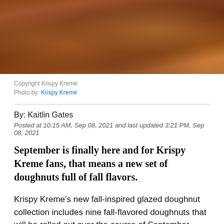[Figure (photo): Close-up photograph of glazed doughnuts with fall flavors, including a pretzel-style donut and a chocolate-dipped donut with white drizzle on a dark wooden surface]
Copyright Krispy Kreme
Photo by: Krispy Kreme
By: Kaitlin Gates
Posted at 10:15 AM, Sep 08, 2021 and last updated 3:21 PM, Sep 08, 2021
September is finally here and for Krispy Kreme fans, that means a new set of doughnuts full of fall flavors.
Krispy Kreme’s new fall-inspired glazed doughnut collection includes nine fall-flavored doughnuts that will be rolled out over the course of September. Each